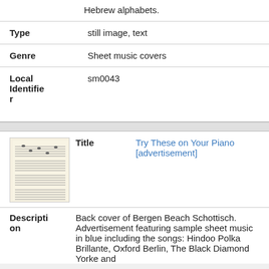Hebrew alphabets.
| Field | Value |
| --- | --- |
| Type | still image, text |
| Genre | Sheet music covers |
| Local Identifier | sm0043 |
[Figure (photo): Thumbnail image of sheet music document with handwritten/printed musical notation lines]
| Field | Value |
| --- | --- |
| Title | Try These on Your Piano [advertisement] |
| Description | Back cover of Bergen Beach Schottisch. Advertisement featuring sample sheet music in blue including the songs: Hindoo Polka Brillante, Oxford Berlin, The Black Diamond Yorke and |